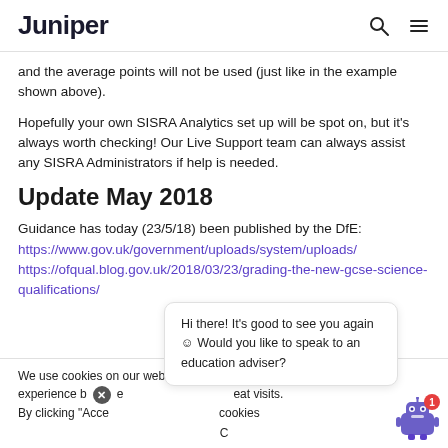Juniper
and the average points will not be used (just like in the example shown above).
Hopefully your own SISRA Analytics set up will be spot on, but it's always worth checking! Our Live Support team can always assist any SISRA Administrators if help is needed.
Update May 2018
Guidance has today (23/5/18) been published by the DfE: https://www.gov.uk/government/uploads/system/uploads/ https://ofqual.blog.gov.uk/2018/03/23/grading-the-new-gcse-science-qualifications/
We use cookies on our website to give you the most relevant experience by remembering your preferences and repeat visits. By clicking "Accept", you consent to the use of ALL the cookies.
Hi there! It's good to see you again ☺ Would you like to speak to an education adviser?